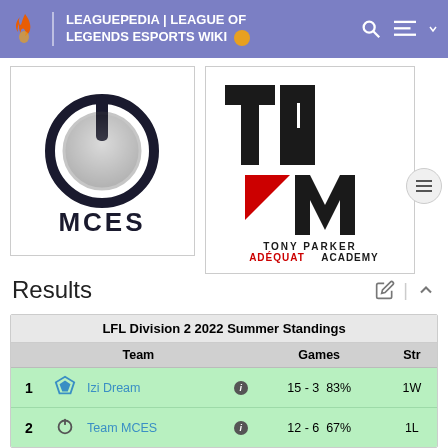LEAGUEPEDIA | LEAGUE OF LEGENDS ESPORTS WIKI
[Figure (logo): MCES team logo - power button icon with MCES text below]
[Figure (logo): Tony Parker Adéquat Academy logo - geometric TP triangles with red accent and text below]
Results
|  | Team |  | Games |  | Str |
| --- | --- | --- | --- | --- | --- |
| 1 | Izi Dream | ℹ | 15 - 3 | 83% | 1W |
| 2 | Team MCES | ℹ | 12 - 6 | 67% | 1L |